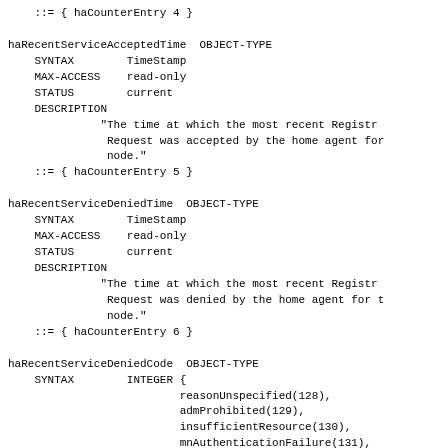::= { haCounterEntry 4 }

haRecentServiceAcceptedTime  OBJECT-TYPE
    SYNTAX        TimeStamp
    MAX-ACCESS    read-only
    STATUS        current
    DESCRIPTION
              "The time at which the most recent Registr
               Request was accepted by the home agent for
               node."
    ::= { haCounterEntry 5 }

haRecentServiceDeniedTime  OBJECT-TYPE
    SYNTAX        TimeStamp
    MAX-ACCESS    read-only
    STATUS        current
    DESCRIPTION
              "The time at which the most recent Registr
               Request was denied by the home agent for t
               node."
    ::= { haCounterEntry 6 }

haRecentServiceDeniedCode  OBJECT-TYPE
    SYNTAX        INTEGER {
                          reasonUnspecified(128),
                          admProhibited(129),
                          insufficientResource(130),
                          mnAuthenticationFailure(131),
                          faAuthenticationFailure(132),
                          idMismatch(133),